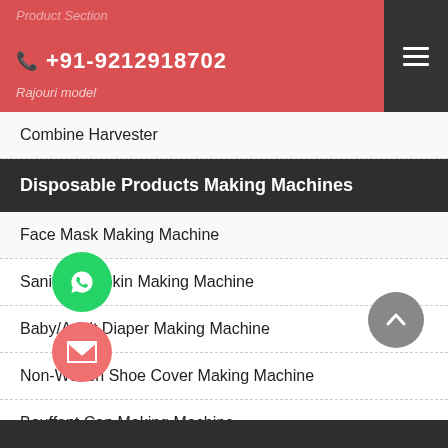+91-9212918702
Disposable Products Making Machines
Combine Harvester
Face Mask Making Machine
Sanitary Napkin Making Machine
Baby/Adult Diaper Making Machine
Non-Woven Shoe Cover Making Machine
Bouffant Cap Making Machine
r Cap Making Machine
Alcohol Swab Making Machine
Cup Making Machine
Aluminium Foil Container Making Machine